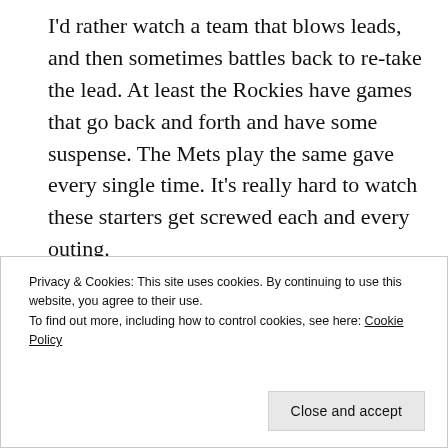I’d rather watch a team that blows leads, and then sometimes battles back to re-take the lead. At least the Rockies have games that go back and forth and have some suspense. The Mets play the same gave every single time. It’s really hard to watch these starters get screwed each and every outing.
[Figure (other): Longreads advertisement banner: red background with white border, Longreads logo and tagline 'The best stories on the web – ours, and everyone else’s.']
T... W... li... At... W... i... N...
Privacy & Cookies: This site uses cookies. By continuing to use this website, you agree to their use.
To find out more, including how to control cookies, see here: Cookie Policy
Close and accept